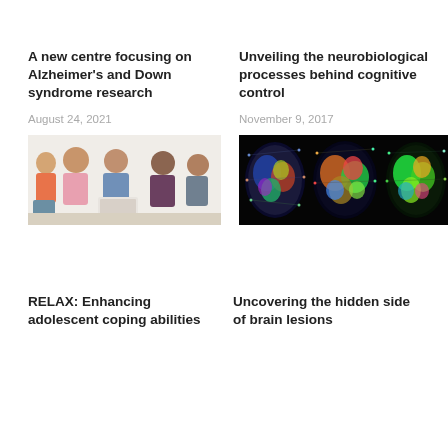A new centre focusing on Alzheimer's and Down syndrome research
August 24, 2021
[Figure (photo): Group of young people sitting together looking at documents or a laptop, discussion or therapy session setting]
Unveiling the neurobiological processes behind cognitive control
November 9, 2017
[Figure (photo): Three brain scan images showing colorful neurological activity maps on black background]
RELAX: Enhancing adolescent coping abilities
Uncovering the hidden side of brain lesions